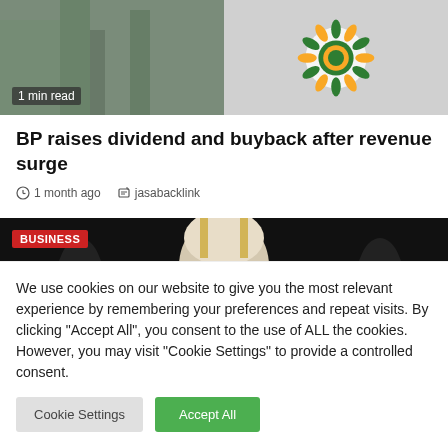[Figure (photo): News article thumbnail showing a building and BP logo]
BP raises dividend and buyback after revenue surge
1 month ago   jasabacklink
[Figure (photo): Dark background photo with person wearing white head covering, BUSINESS badge overlay]
We use cookies on our website to give you the most relevant experience by remembering your preferences and repeat visits. By clicking "Accept All", you consent to the use of ALL the cookies. However, you may visit "Cookie Settings" to provide a controlled consent.